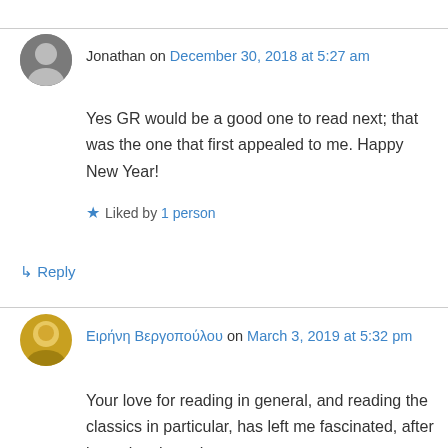Jonathan on December 30, 2018 at 5:27 am
Yes GR would be a good one to read next; that was the one that first appealed to me. Happy New Year!
★ Liked by 1 person
↳ Reply
Ειρήνη Βεργοπούλου on March 3, 2019 at 5:32 pm
Your love for reading in general, and reading the classics in particular, has left me fascinated, after browsing through your posts. I was sincerely moved when I saw the sides of the Cavavy and Ritsos collections on one of the